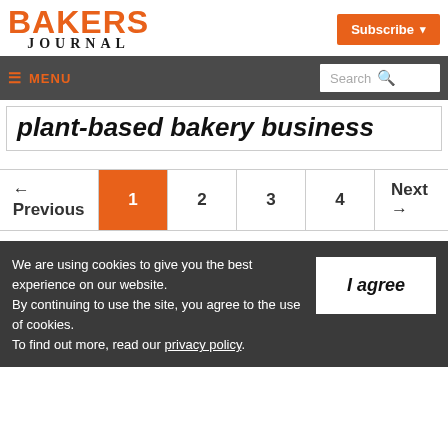BAKERS JOURNAL — Subscribe
≡ MENU | Search
plant-based bakery business
← Previous 1 2 3 4 Next →
We are using cookies to give you the best experience on our website. By continuing to use the site, you agree to the use of cookies. To find out more, read our privacy policy.